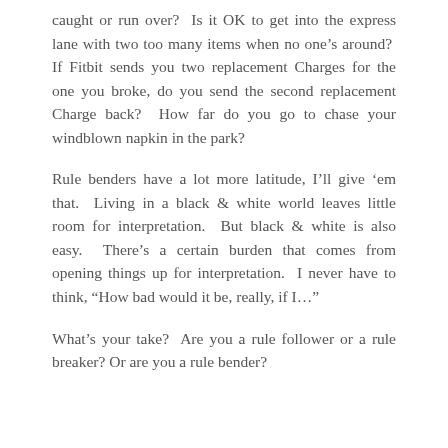caught or run over?  Is it OK to get into the express lane with two too many items when no one's around?  If Fitbit sends you two replacement Charges for the one you broke, do you send the second replacement Charge back?  How far do you go to chase your windblown napkin in the park?
Rule benders have a lot more latitude, I'll give 'em that.  Living in a black & white world leaves little room for interpretation.  But black & white is also easy.  There's a certain burden that comes from opening things up for interpretation.  I never have to think, “How bad would it be, really, if I...”
What’s your take?  Are you a rule follower or a rule breaker? Or are you a rule bender?